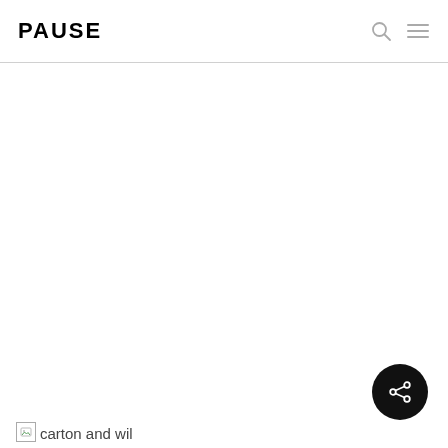PAUSE
[Figure (screenshot): White blank main content area of a webpage]
[Figure (illustration): Black circular share button with share/network icon (three dots connected) in bottom right corner]
[Figure (photo): Broken image placeholder with alt text 'carton and wil' at bottom left]